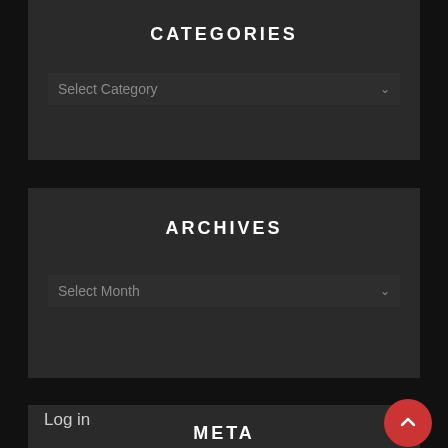CATEGORIES
Select Category
ARCHIVES
Select Month
META
Log in